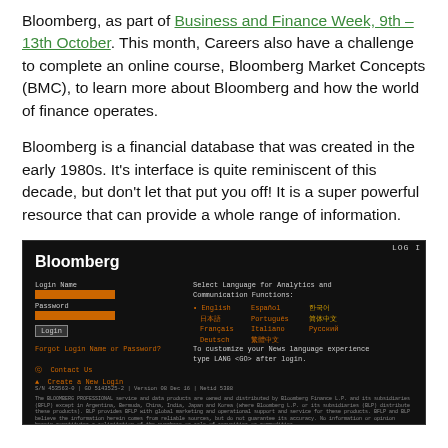Bloomberg, as part of Business and Finance Week, 9th – 13th October. This month, Careers also have a challenge to complete an online course, Bloomberg Market Concepts (BMC), to learn more about Bloomberg and how the world of finance operates.
Bloomberg is a financial database that was created in the early 1980s. It's interface is quite reminiscent of this decade, but don't let that put you off! It is a super powerful resource that can provide a whole range of information.
[Figure (screenshot): Bloomberg terminal login screen showing Login Name and Password fields, language selection panel with English, Español, 한국어, 日本語, Português, 简体中文, Français, Italiano, Русский, Deutsch, 繁體中文, a 'Forgot Login Name or Password?' link, Contact Us and Create a New Login links, version info, and Bloomberg Professional disclaimer text.]